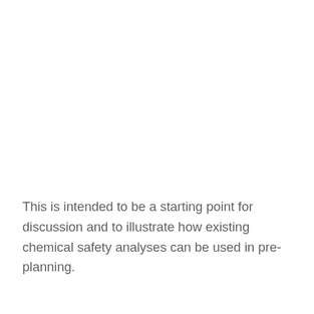This is intended to be a starting point for discussion and to illustrate how existing chemical safety analyses can be used in pre-planning.